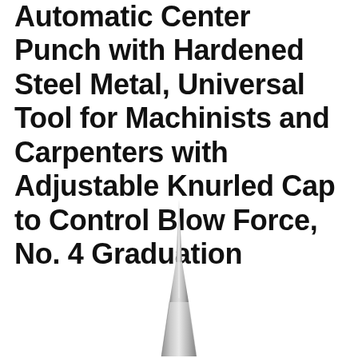Automatic Center Punch with Hardened Steel Metal, Universal Tool for Machinists and Carpenters with Adjustable Knurled Cap to Control Blow Force, No. 4 Graduation
[Figure (photo): A close-up photo of the tip section of an automatic center punch tool, showing a long tapered steel tip/point at the top narrowing to a sharp point, widening into a broader conical base below, all in brushed metallic silver/gray finish.]